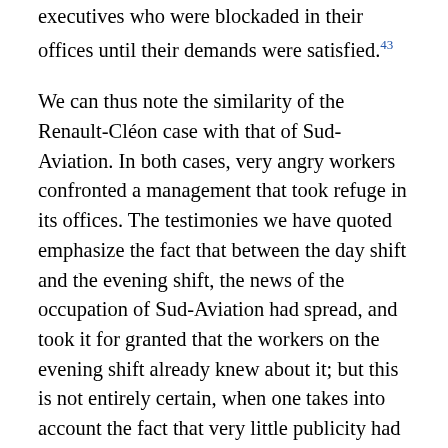executives who were blockaded in their offices until their demands were satisfied.43
We can thus note the similarity of the Renault-Cléon case with that of Sud-Aviation. In both cases, very angry workers confronted a management that took refuge in its offices. The testimonies we have quoted emphasize the fact that between the day shift and the evening shift, the news of the occupation of Sud-Aviation had spread, and took it for granted that the workers on the evening shift already knew about it; but this is not entirely certain, when one takes into account the fact that very little publicity had been devoted to the conflict at Nantes that was taking place at the same time; and it does not necessarily explain why the workers at Cléon had the same idea as those at Nantes: the momentum of the conflict and the increase of tension contributed on their own to this kind